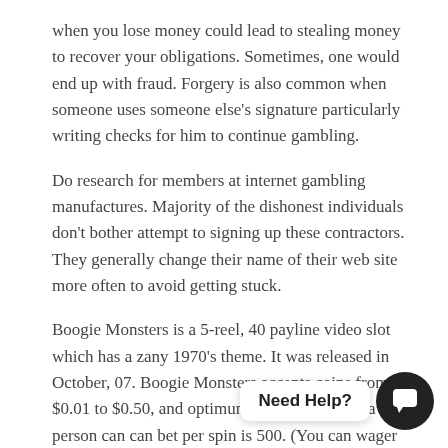when you lose money could lead to stealing money to recover your obligations. Sometimes, one would end up with fraud. Forgery is also common when someone uses someone else's signature particularly writing checks for him to continue gambling.
Do research for members at internet gambling manufactures. Majority of the dishonest individuals don't bother attempt to signing up these contractors. They generally change their name of their web site more often to avoid getting stuck.
Boogie Monsters is a 5-reel, 40 payline video slot which has a zany 1970's theme. It was released in October, 07. Boogie Monsters accepts coins from $0.01 to $0.50, and optimum number of coins a person can can bet per spin is 500. (You can wager between $0.01 and $200 per spin.) Optir   1,0 silver coins.